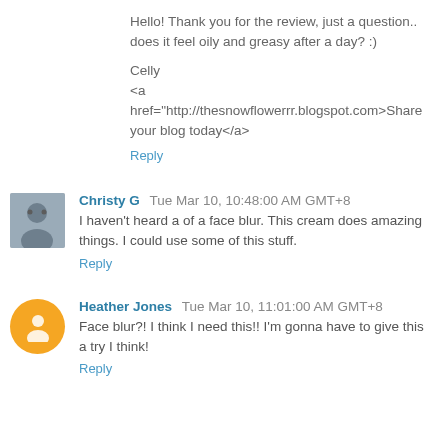Hello! Thank you for the review, just a question.. does it feel oily and greasy after a day? :)
Celly
<a href="http://thesnowflowerrr.blogspot.com>Share your blog today</a>
Reply
Christy G Tue Mar 10, 10:48:00 AM GMT+8
I haven't heard a of a face blur. This cream does amazing things. I could use some of this stuff.
Reply
Heather Jones Tue Mar 10, 11:01:00 AM GMT+8
Face blur?! I think I need this!! I'm gonna have to give this a try I think!
Reply